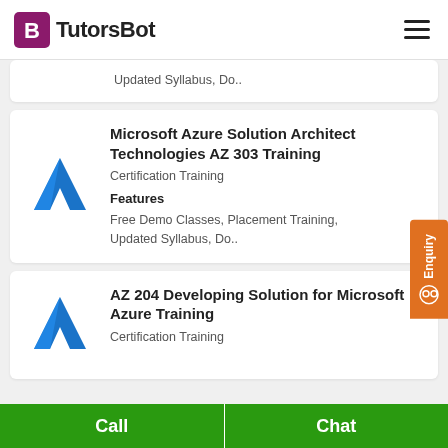TutorsBot
Updated Syllabus, Do..
Microsoft Azure Solution Architect Technologies AZ 303 Training
Certification Training
Features
Free Demo Classes, Placement Training, Updated Syllabus, Do..
AZ 204 Developing Solution for Microsoft Azure Training
Certification Training
Call  Chat